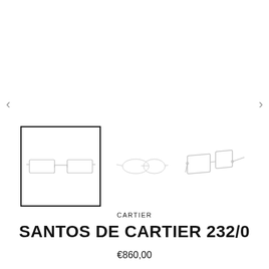[Figure (photo): Three views of silver Cartier Santos De Cartier 232/O eyeglasses frames: front view (selected/highlighted with black border), side angled view, and three-quarter perspective view showing the frame and temples.]
CARTIER
SANTOS DE CARTIER 232/0
€860,00